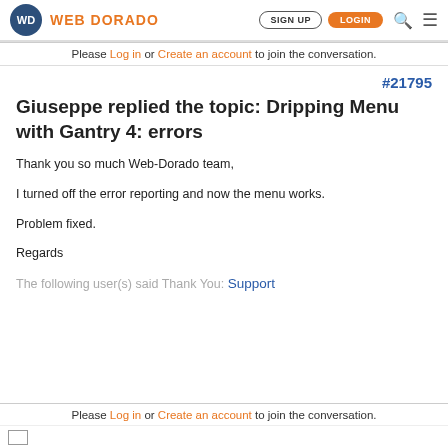WD WEB DORADO | SIGN UP | LOGIN
Please Log in or Create an account to join the conversation.
#21795
Giuseppe replied the topic: Dripping Menu with Gantry 4: errors
Thank you so much Web-Dorado team,

I turned off the error reporting and now the menu works.

Problem fixed.

Regards
The following user(s) said Thank You: Support
Please Log in or Create an account to join the conversation.